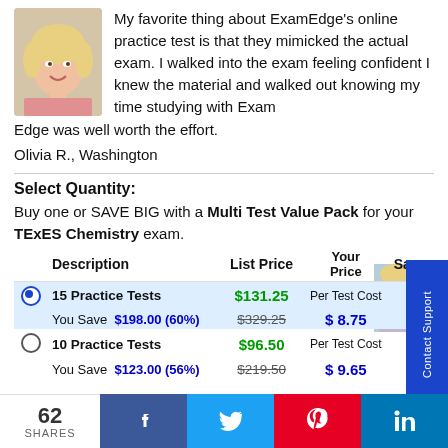[Figure (photo): Photo of a smiling blonde woman]
My favorite thing about ExamEdge's online practice test is that they mimicked the actual exam. I walked into the exam feeling confident I knew the material and walked out knowing my time studying with Exam Edge was well worth the effort.
Olivia R., Washington
Select Quantity:
Buy one or SAVE BIG with a Multi Test Value Pack for your TExES Chemistry exam.
|  | Description | List Price | Your Price | Sa |
| --- | --- | --- | --- | --- |
| ● | 15 Practice Tests | $131.25 | Per Test Cost |  |
|  | You Save  $198.00 (60%) | $329.25 | $ 8.75 |  |
| ○ | 10 Practice Tests | $96.50 | Per Test Cost |  |
|  | You Save  $123.00 (56%) | $219.50 | $ 9.65 |  |